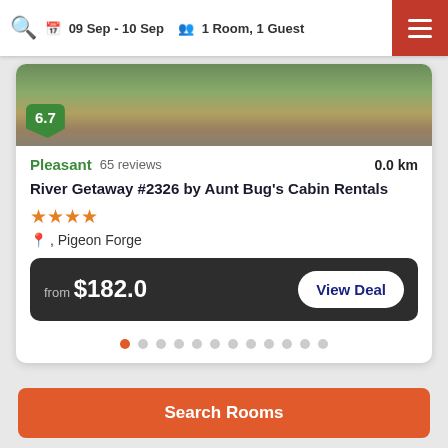09 Sep - 10 Sep   1 Room, 1 Guest
[Figure (photo): Exterior photo of a cabin/vacation rental property with green grass and stone building]
6.7
Pleasant   65 reviews   0.0 km
River Getaway #2326 by Aunt Bug's Cabin Rentals
★★★★ , Pigeon Forge
from $182.0   View Deal
Search Rooms